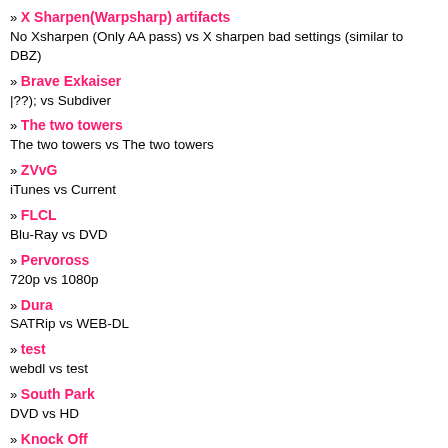» X Sharpen(Warpsharp) artifacts
No Xsharpen (Only AA pass) vs X sharpen bad settings (similar to DBZ)
» Brave Exkaiser
|??); vs Subdiver
» The two towers
The two towers vs The two towers
» ZVvG
iTunes vs Current
» FLCL
Blu-Ray vs DVD
» Pervoross
720p vs 1080p
» Dura
SATRip vs WEB-DL
» test
webdl vs test
» South Park
DVD vs HD
» Knock Off
Focus Media vs 88 Films
» Tenet BluRay
BluRay vs Dus Ka Sh3r ka 1080p Rip
» Screwballs II: Loose Screws